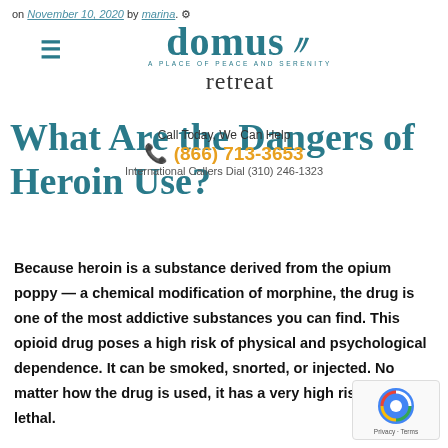on November 10, 2020 by marina.
[Figure (logo): Domus Retreat logo — 'domus A PLACE OF PEACE AND SERENITY retreat' in teal/dark text with decorative swirl]
Call Today, We Can Help
☎ (866) 713-3653
International Callers Dial (310) 246-1323
What Are the Dangers of Heroin Use?
Because heroin is a substance derived from the opium poppy — a chemical modification of morphine, the drug is one of the most addictive substances you can find. This opioid drug poses a high risk of physical and psychological dependence. It can be smoked, snorted, or injected. No matter how the drug is used, it has a very high risk of being lethal.